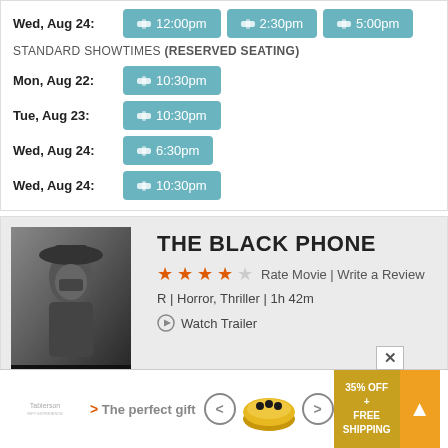Wed, Aug 24:
12:00pm  2:30pm  5:00pm
STANDARD SHOWTIMES (RESERVED SEATING)
Mon, Aug 22: 10:30pm
Tue, Aug 23: 10:30pm
Wed, Aug 24: 6:30pm
Wed, Aug 24: 10:30pm
[Figure (photo): Movie poster for The Black Phone showing a dark figure in a hat and mask]
THE BLACK PHONE
★★★★☆ Rate Movie | Write a Review
R | Horror, Thriller | 1h 42m
▶ Watch Trailer
STANDARD SHOWTIMES (RESERVED SEATING / CLOSED CAPTIONS)
Mon, Aug 22: 7:20pm  10:20pm
Tue, Aug
Wed, Au
[Figure (infographic): Advertisement banner: The perfect gift - 35% OFF + FREE SHIPPING, with food bowl imagery and navigation arrows]